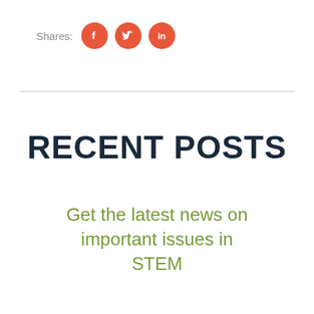[Figure (infographic): Shares label with three orange circular social media icons: Facebook, Twitter, LinkedIn]
RECENT POSTS
Get the latest news on important issues in STEM